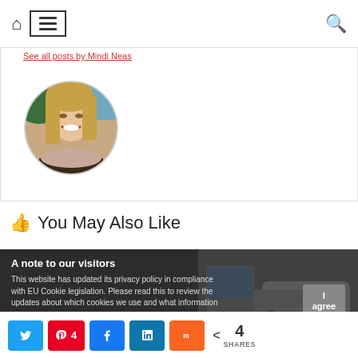Navigation bar with home icon, menu icon, and search icon
See all posts by Mindi Neas
[Figure (photo): Circular avatar photo of a smiling blonde woman outdoors]
You May Also Like
A note to our visitors
This website has updated its privacy policy in compliance with EU Cookie legislation. Please read this to review the updates about which cookies we use and what information
Twitter share button, Pinterest 4, Facebook share button, LinkedIn share button, Mix share button, < 4 SHARES